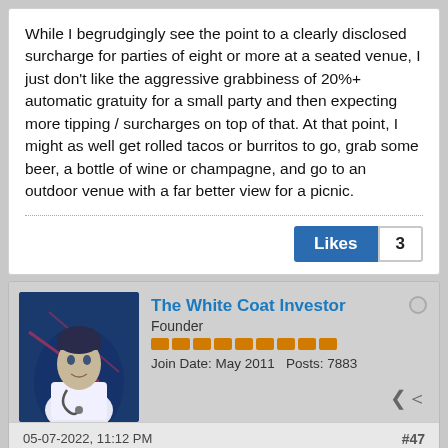While I begrudgingly see the point to a clearly disclosed surcharge for parties of eight or more at a seated venue, I just don't like the aggressive grabbiness of 20%+ automatic gratuity for a small party and then expecting more tipping / surcharges on top of that. At that point, I might as well get rolled tacos or burritos to go, grab some beer, a bottle of wine or champagne, and go to an outdoor venue with a far better view for a picnic.
Likes 3
The White Coat Investor
Founder
Join Date: May 2011   Posts: 7883
05-07-2022, 11:12 PM
#47
Originally posted by Kennyt7
What about those payments on I PADS where its 18% and up